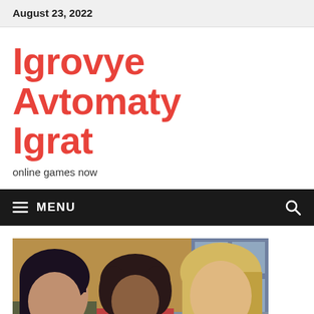August 23, 2022
Igrovye Avtomaty Igrat
online games now
≡ MENU
[Figure (photo): Three women sitting together looking concerned or surprised, indoor setting with a window visible in the background. Left woman has black hair, middle woman has curly dark hair, right woman has blonde hair.]